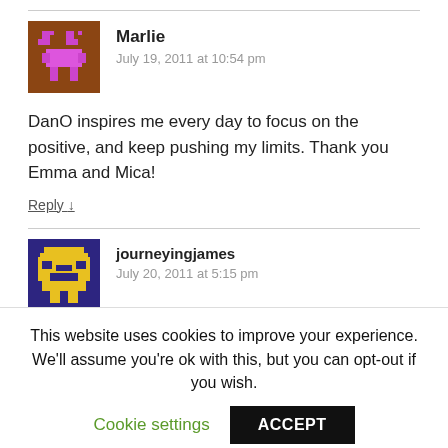[Figure (illustration): Pixel art avatar of Marlie — brown background with pink/magenta pixelated character]
Marlie
July 19, 2011 at 10:54 pm
DanO inspires me every day to focus on the positive, and keep pushing my limits. Thank you Emma and Mica!
Reply ↓
[Figure (illustration): Pixel art avatar of journeyingjames — dark blue/purple background with yellow pixelated character]
journeyingjames
July 20, 2011 at 5:15 pm
This website uses cookies to improve your experience. We'll assume you're ok with this, but you can opt-out if you wish.
Cookie settings
ACCEPT